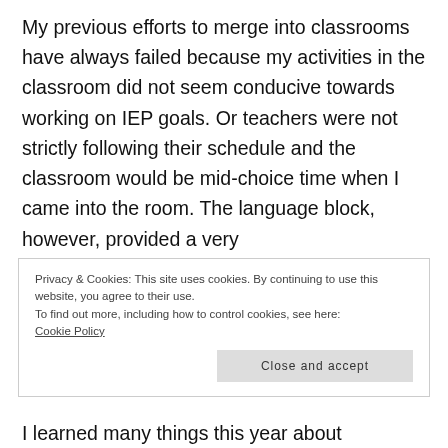My previous efforts to merge into classrooms have always failed because my activities in the classroom did not seem conducive towards working on IEP goals. Or teachers were not strictly following their schedule and the classroom would be mid-choice time when I came into the room. The language block, however, provided a very
Privacy & Cookies: This site uses cookies. By continuing to use this website, you agree to their use.
To find out more, including how to control cookies, see here:
Cookie Policy
Close and accept
I learned many things this year about